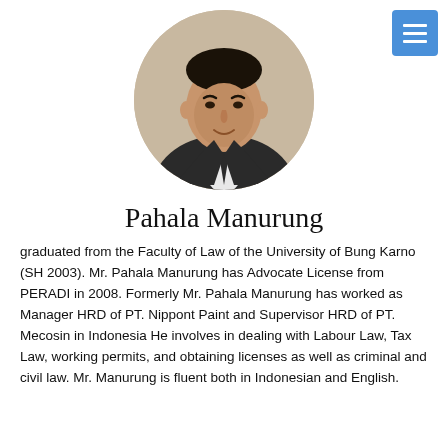[Figure (photo): Circular portrait photo of Pahala Manurung, a man in a dark suit with a tie, photographed against a neutral background.]
Pahala Manurung
graduated from the Faculty of Law of the University of Bung Karno (SH 2003). Mr. Pahala Manurung has Advocate License from PERADI in 2008. Formerly Mr. Pahala Manurung has worked as Manager HRD of PT. Nippont Paint and Supervisor HRD of PT. Mecosin in Indonesia He involves in dealing with Labour Law, Tax Law, working permits, and obtaining licenses as well as criminal and civil law. Mr. Manurung is fluent both in Indonesian and English.